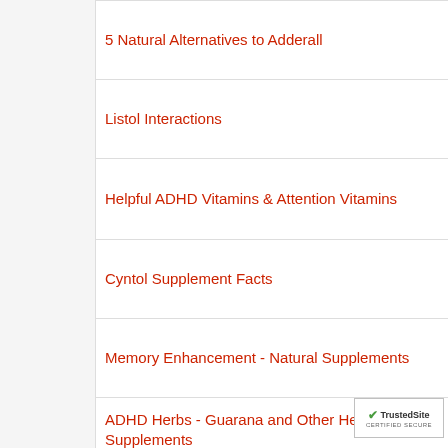5 Natural Alternatives to Adderall
Listol Interactions
Helpful ADHD Vitamins & Attention Vitamins
Cyntol Supplement Facts
Memory Enhancement - Natural Supplements
ADHD Herbs - Guarana and Other Herbal Supplements